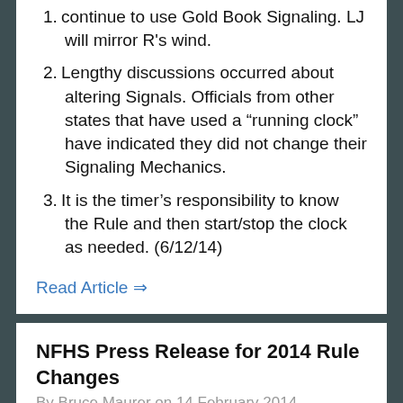continue to use Gold Book Signaling. LJ will mirror R's wind.
Lengthy discussions occurred about altering Signals. Officials from other states that have used a “running clock” have indicated they did not change their Signaling Mechanics.
It is the timer’s responsibility to know the Rule and then start/stop the clock as needed. (6/12/14)
Read Article ⇒
NFHS Press Release for 2014 Rule Changes
By Bruce Maurer on 14 February 2014
The NFHS has released a press release